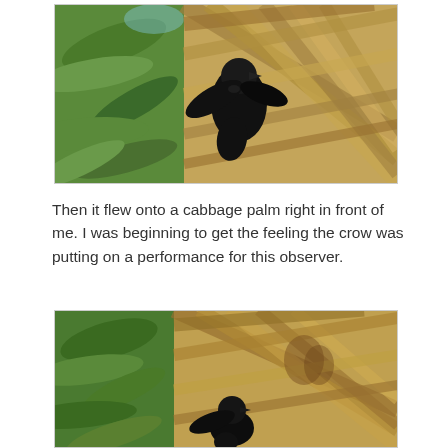[Figure (photo): A black crow perched on and interacting with a cabbage palm, with green palm fronds visible on the left and dried woven palm fronds on the right. The crow is dark/black in color against the natural background.]
Then it flew onto a cabbage palm right in front of me. I was beginning to get the feeling the crow was putting on a performance for this observer.
[Figure (photo): A black crow on a cabbage palm tree, shown from a different angle. Green fern-like foliage is on the left, and the tan/beige dried palm fronds form the background on the right. The crow appears lower in the frame.]